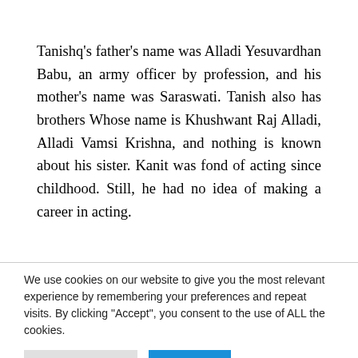Tanishq's father's name was Alladi Yesuvardhan Babu, an army officer by profession, and his mother's name was Saraswati. Tanish also has brothers Whose name is Khushwant Raj Alladi, Alladi Vamsi Krishna, and nothing is known about his sister. Kanit was fond of acting since childhood. Still, he had no idea of making a career in acting.
We use cookies on our website to give you the most relevant experience by remembering your preferences and repeat visits. By clicking "Accept", you consent to the use of ALL the cookies.